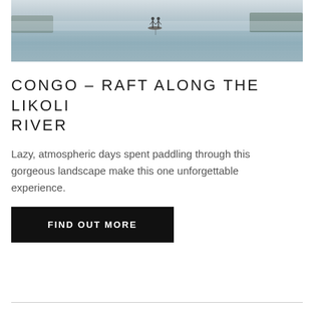[Figure (photo): Two people on stand-up paddleboards or a small raft on a wide, calm misty river with forested banks in the background. The water reflects the grey sky and trees, creating a peaceful atmospheric scene.]
CONGO – RAFT ALONG THE LIKOLI RIVER
Lazy, atmospheric days spent paddling through this gorgeous landscape make this one unforgettable experience.
FIND OUT MORE